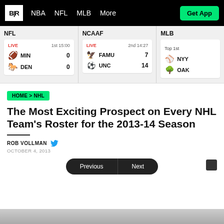B|R  NBA  NFL  MLB  More  Get App
| League | Status | Team | Score |
| --- | --- | --- | --- |
| NFL | LIVE 1st 15:00 | MIN | 0 |
| NFL | LIVE 1st 15:00 | DEN | 0 |
| NCAAF | LIVE 2nd 14:27 | FAMU | 7 |
| NCAAF | LIVE 2nd 14:27 | UNC | 14 |
| MLB | Top 1st | NYY |  |
| MLB | Top 1st | OAK |  |
HOME > NHL
The Most Exciting Prospect on Every NHL Team's Roster for the 2013-14 Season
ROB VOLLMAN
OCTOBER 4, 2013
Previous  Next